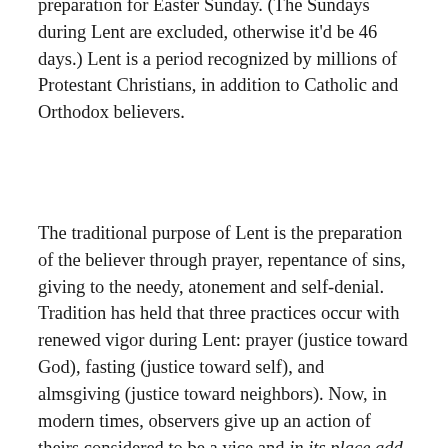preparation for Easter Sunday. (The Sundays during Lent are excluded, otherwise it'd be 46 days.) Lent is a period recognized by millions of Protestant Christians, in addition to Catholic and Orthodox believers.
The traditional purpose of Lent is the preparation of the believer through prayer, repentance of sins, giving to the needy, atonement and self-denial. Tradition has held that three practices occur with renewed vigor during Lent: prayer (justice toward God), fasting (justice toward self), and almsgiving (justice toward neighbors). Now, in modern times, observers give up an action of theirs considered to be a vice and in its place add something that is considered to be able to bring them closer to God.